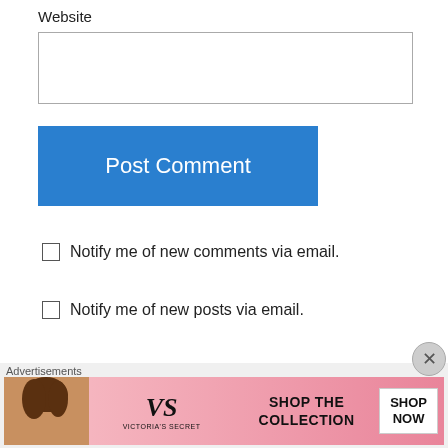Website
[Figure (screenshot): Text input box for website URL]
[Figure (screenshot): Blue 'Post Comment' button]
Notify me of new comments via email.
Notify me of new posts via email.
Carol on August 23, 2011 at 8:16 am
Thanks for posting!!! I just realized it's been forever since I've made Shawarma and I think I'll
[Figure (screenshot): Victoria's Secret advertisement banner with model photo, VS logo, 'SHOP THE COLLECTION' text and 'SHOP NOW' button]